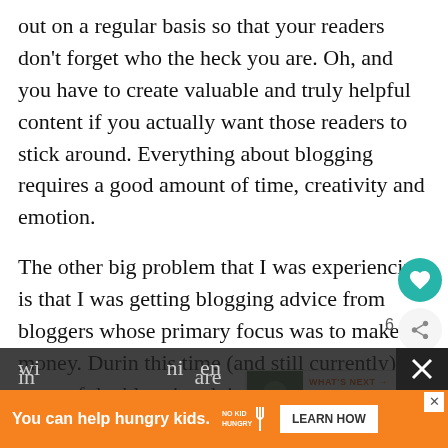out on a regular basis so that your readers don't forget who the heck you are. Oh, and you have to create valuable and truly helpful content if you actually want those readers to stick around. Everything about blogging requires a good amount of time, creativity and emotion.
The other big problem that I was experiencing is that I was getting blogging advice from bloggers whose primary focus was to make money. During this time (and still currently) most of the blogging advice came from bloggers who blog about making money by blogging to teach other bloggers how to make money by blogging. Huh?! These are people who...
[Figure (screenshot): Social media widget with teal heart icon and share icon with count 6, and a 'What's Next' widget showing 'How to Stock a Goat...' with an image thumbnail]
[Figure (screenshot): Advertisement banner: orange background with text 'You can help hungry kids.' and No Kid Hungry logo and 'LEARN HOW' button. Bottom section shows partial text on dark background with X icon.]